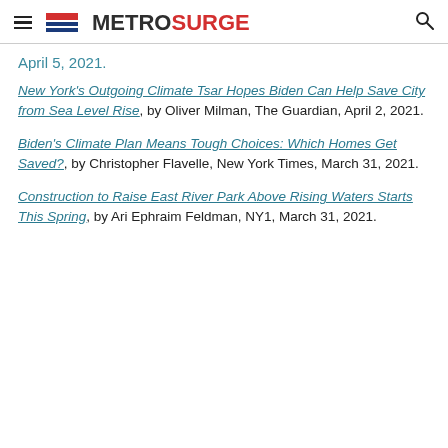METROSURGE
April 5, 2021.
New York's Outgoing Climate Tsar Hopes Biden Can Help Save City from Sea Level Rise, by Oliver Milman, The Guardian, April 2, 2021.
Biden's Climate Plan Means Tough Choices: Which Homes Get Saved?, by Christopher Flavelle, New York Times, March 31, 2021.
Construction to Raise East River Park Above Rising Waters Starts This Spring, by Ari Ephraim Feldman, NY1, March 31, 2021.